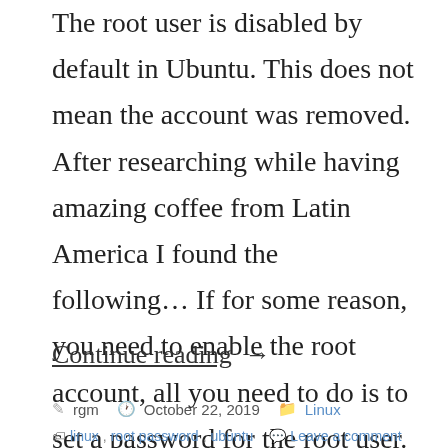The root user is disabled by default in Ubuntu. This does not mean the account was removed. After researching while having amazing coffee from Latin America I found the following… If for some reason, you need to enable the root account, all you need to do is to set a password for the root user. In …
Continue reading →
rgm  October 22, 2019  Linux  linux, root password, ubuntu  Leave a comment